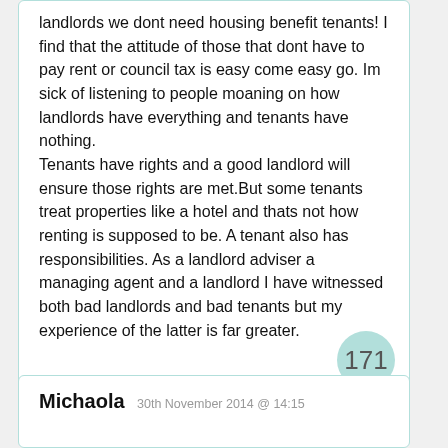landlords we dont need housing benefit tenants! I find that the attitude of those that dont have to pay rent or council tax is easy come easy go. Im sick of listening to people moaning on how landlords have everything and tenants have nothing.
Tenants have rights and a good landlord will ensure those rights are met.But some tenants treat properties like a hotel and thats not how renting is supposed to be. A tenant also has responsibilities. As a landlord adviser a managing agent and a landlord I have witnessed both bad landlords and bad tenants but my experience of the latter is far greater.
171
Michaola